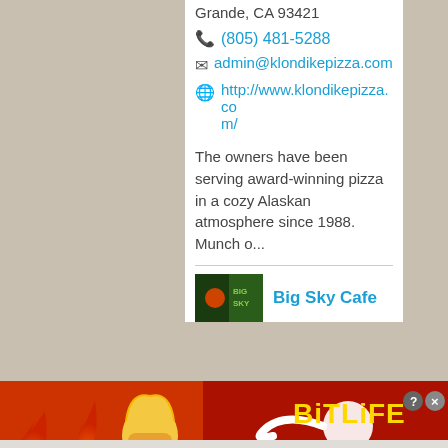Grande, CA 93421
(805) 481-5288
admin@klondikepizza.com
http://www.klondikepizza.com/
The owners have been serving award-winning pizza in a cozy Alaskan atmosphere since 1988. Munch o...
Big Sky Cafe
[Figure (photo): Advertisement banner for BitLife game showing flames, cartoon character facepalming, and text FAIL / START A NEW LIFE]